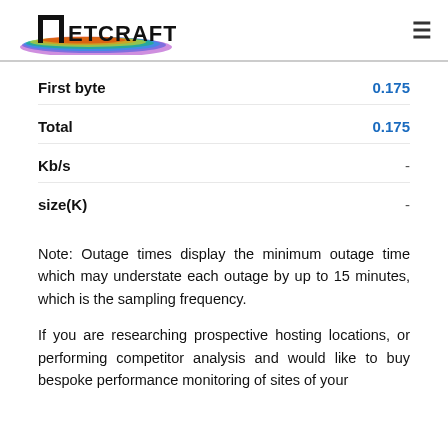Netcraft
|  |  |
| --- | --- |
| First byte | 0.175 |
| Total | 0.175 |
| Kb/s | - |
| size(K) | - |
Note: Outage times display the minimum outage time which may understate each outage by up to 15 minutes, which is the sampling frequency.
If you are researching prospective hosting locations, or performing competitor analysis and would like to buy bespoke performance monitoring of sites of your